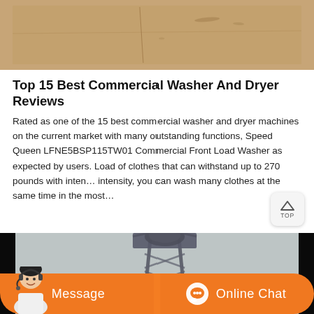[Figure (photo): A beige/tan textured surface (possibly cardboard or wood) with faint crease lines visible.]
Top 15 Best Commercial Washer And Dryer Reviews
Rated as one of the 15 best commercial washer and dryer machines on the current market with many outstanding functions, Speed Queen LFNE5BSP115TW01 Commercial Front Load Washer as expected by users. Load of clothes that can withstand up to 270 pounds with inten… intensity, you can wash many clothes at the same time in the most…
[Figure (photo): A dark industrial tower/crane structure photographed against a grey hazy sky, with machinery at the top.]
[Figure (other): Chat bar with Message and Online Chat buttons, and a customer service agent illustration on the left.]